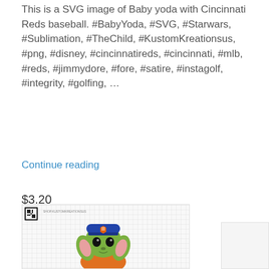This is a SVG image of Baby yoda with Cincinnati Reds baseball. #BabyYoda, #SVG, #Starwars, #Sublimation, #TheChild, #KustomKreationsus, #png, #disney, #cincinnatireds, #cincinnati, #mlb, #reds, #jimmydore, #fore, #satire, #instagolf, #integrity, #golfing, …
Continue reading
$3.20
Purchase
[Figure (illustration): Baby Yoda SVG illustration wearing a blue FC Cincinnati baseball cap with orange logo, with pink ears, green face, black eyes, and orange outfit, on a grid background with a QR code in the top-left corner and a watermark URL at the top.]